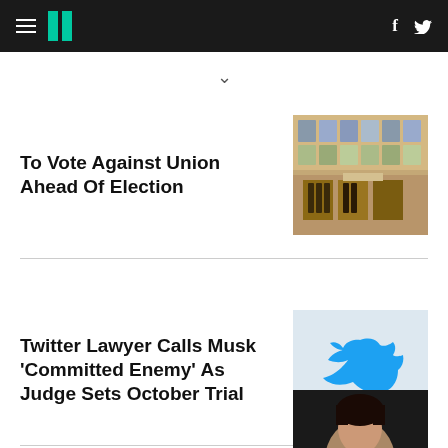HuffPost navigation bar with hamburger menu, logo, Facebook and Twitter icons
To Vote Against Union Ahead Of Election
[Figure (photo): Store interior with wine bottles and shelves of products]
Twitter Lawyer Calls Musk 'Committed Enemy' As Judge Sets October Trial
[Figure (photo): Twitter blue bird logo on light grey background]
[Figure (photo): Person with dark hair, partially visible at bottom of page]